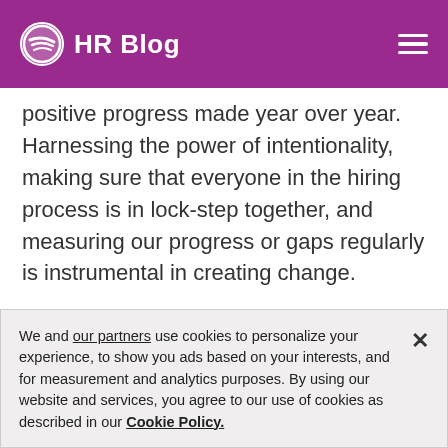HR Blog
positive progress made year over year. Harnessing the power of intentionality, making sure that everyone in the hiring process is in lock-step together, and measuring our progress or gaps regularly is instrumental in creating change.
Another thing to make clear is that this is not an HR initiative, this is a company imperative – for our creators, artists and listeners. For companies and organisations looking to make this a reality for their company, laying out intentional goals and steps can
We and our partners use cookies to personalize your experience, to show you ads based on your interests, and for measurement and analytics purposes. By using our website and services, you agree to our use of cookies as described in our Cookie Policy.